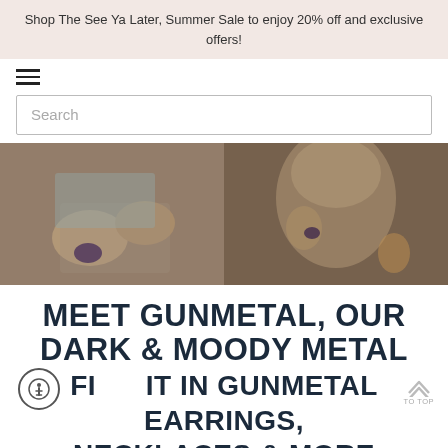Shop The See Ya Later, Summer Sale to enjoy 20% off and exclusive offers!
[Figure (screenshot): Hamburger menu icon (three horizontal lines)]
[Figure (screenshot): Search bar with placeholder text 'Search']
[Figure (photo): Two side-by-side photos of a woman wearing dark gemstone rings, bracelets, and jewelry. Left photo shows hands with rings against a light blue skirt. Right photo shows a woman touching her face, displaying rings and hoop earrings.]
MEET GUNMETAL, OUR DARK & MOODY METAL FIND IT IN GUNMETAL EARRINGS, NECKLACES & MORE